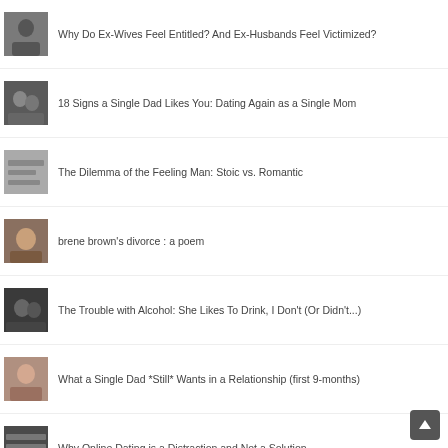Why Do Ex-Wives Feel Entitled? And Ex-Husbands Feel Victimized?
18 Signs a Single Dad Likes You: Dating Again as a Single Mom
The Dilemma of the Feeling Man: Stoic vs. Romantic
brene brown's divorce : a poem
The Trouble with Alcohol: She Likes To Drink, I Don't (Or Didn't...)
What a Single Dad *Still* Wants in a Relationship (first 9-months)
Why Online Dating is a Distraction and Not a Solution